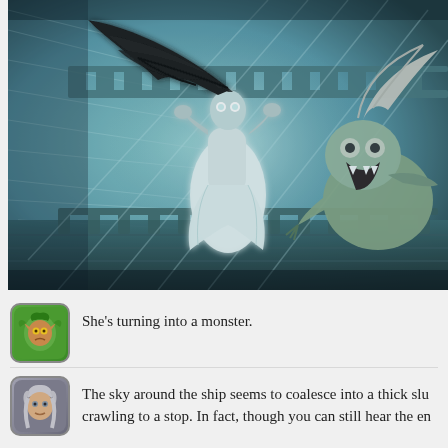[Figure (illustration): Anime/comic-style illustration showing a woman in a white dress with long black hair blowing in the wind, glowing white eyes, standing on what appears to be a ship deck. To her right is a monstrous creature with white hair, screaming. The scene has a teal/blue eerie atmosphere with dramatic lighting and motion lines.]
She's turning into a monster.
The sky around the ship seems to coalesce into a thick slu crawling to a stop. In fact, though you can still hear the en